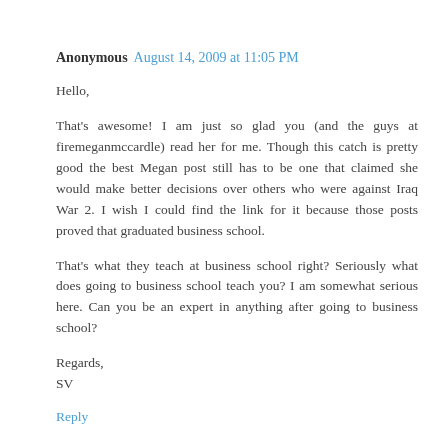Anonymous August 14, 2009 at 11:05 PM
Hello,

That's awesome! I am just so glad you (and the guys at firemeganmccardle) read her for me. Though this catch is pretty good the best Megan post still has to be one that claimed she would make better decisions over others who were against Iraq War 2. I wish I could find the link for it because those posts proved that graduated business school.

That's what they teach at business school right? Seriously what does going to business school teach you? I am somewhat serious here. Can you be an expert in anything after going to business school?

Regards,
SV
Reply